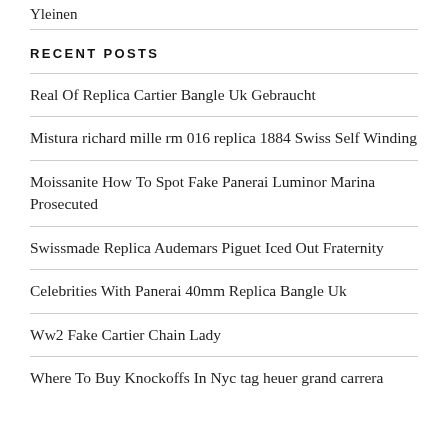Yleinen
RECENT POSTS
Real Of Replica Cartier Bangle Uk Gebraucht
Mistura richard mille rm 016 replica 1884 Swiss Self Winding
Moissanite How To Spot Fake Panerai Luminor Marina Prosecuted
Swissmade Replica Audemars Piguet Iced Out Fraternity
Celebrities With Panerai 40mm Replica Bangle Uk
Ww2 Fake Cartier Chain Lady
Where To Buy Knockoffs In Nyc tag heuer grand carrera